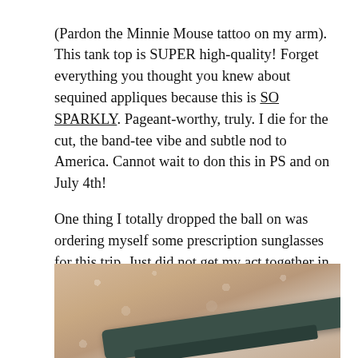(Pardon the Minnie Mouse tattoo on my arm). This tank top is SUPER high-quality! Forget everything you thought you knew about sequined appliques because this is SO SPARKLY. Pageant-worthy, truly. I die for the cut, the band-tee vibe and subtle nod to America. Cannot wait to don this in PS and on July 4th!

One thing I totally dropped the ball on was ordering myself some prescription sunglasses for this trip. Just did not get my act together in time. Luckily I have these adorable new sunglasses from Pixel Eyewear that are both polarized AND offer blue light protection. They feel so high-quality and I love that David can wear them too #unisex.
[Figure (photo): Close-up photo showing sunglasses with dark green/teal frames resting on a fluffy light beige/cream fur or fleece fabric surface.]